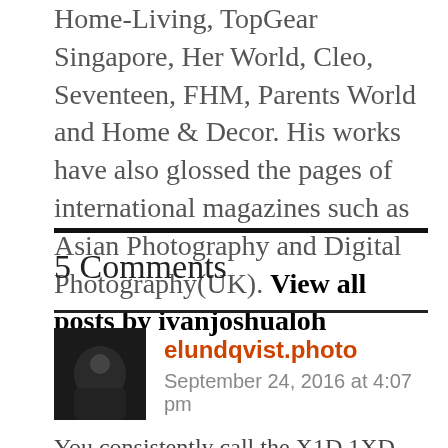Home-Living, TopGear Singapore, Her World, Cleo, Seventeen, FHM, Parents World and Home & Decor. His works have also glossed the pages of international magazines such as Asian Photography and Digital Photography(UK). View all posts by ivanjoshualoh
5 Comments
elundqvist.photo
September 24, 2016 at 4:07 pm
You consistently call the X1D 1XD 🙂